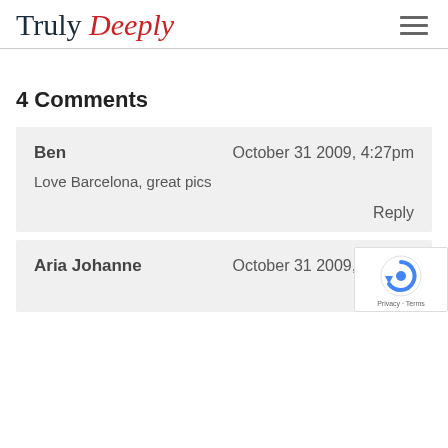Truly Deeply
4 Comments
Ben — October 31 2009, 4:27pm — Love Barcelona, great pics — Reply
Aria Johanne — October 31 2009, 4:29pm